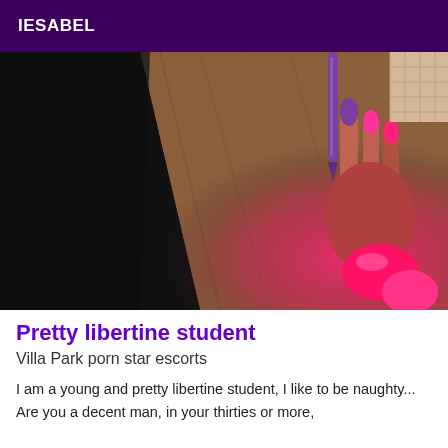IESABEL
[Figure (photo): Close-up photo showing a dark diagonal shape on the left side, a wooden surface, and a hand with bright pink/red nails holding a purple pen, lit with pink/red light.]
Pretty libertine student
Villa Park porn star escorts
I am a young and pretty libertine student, I like to be naughty... Are you a decent man, in your thirties or more,